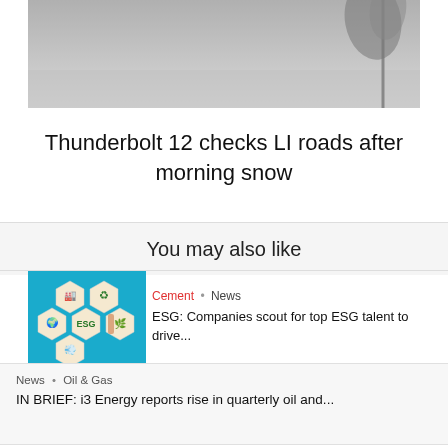[Figure (photo): Snowy road scene with tree branch in corner, grayscale]
Thunderbolt 12 checks LI roads after morning snow
You may also like
[Figure (photo): Hands placing ESG hexagon wooden tiles on blue background with icons for industry, recycling, globe, ESG, leaf, wind]
Cement • News
ESG: Companies scout for top ESG talent to drive...
News • Oil & Gas
IN BRIEF: i3 Energy reports rise in quarterly oil and...
[Figure (photo): Sailors in white uniforms on a port street with colorful buildings]
News • Ports
Sailors Ate an Entire Town's Eggs and Meat on Port...